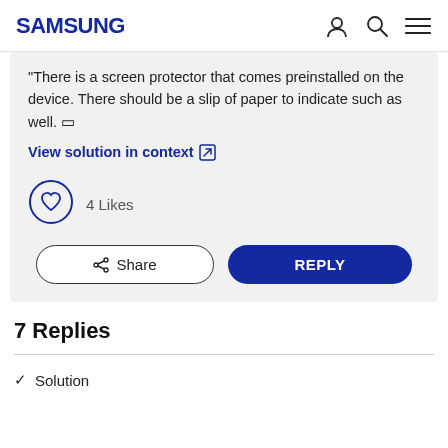SAMSUNG
There is a screen protector that comes preinstalled on the device. There should be a slip of paper to indicate such as well. 🔲
View solution in context ↗
[Figure (other): Heart/like button icon in a circle, with '4 Likes' text]
4 Likes
Share   REPLY
7 Replies
✓ Solution